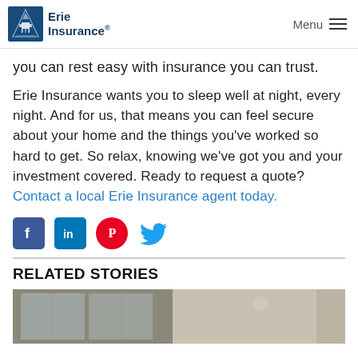Erie Insurance — Menu
you can rest easy with insurance you can trust.
Erie Insurance wants you to sleep well at night, every night. And for us, that means you can feel secure about your home and the things you've worked so hard to get. So relax, knowing we've got you and your investment covered. Ready to request a quote? Contact a local Erie Insurance agent today.
[Figure (infographic): Social media share icons: Facebook, LinkedIn, Pinterest, Twitter]
RELATED STORIES
[Figure (photo): Photo of a child standing near a window inside a home]